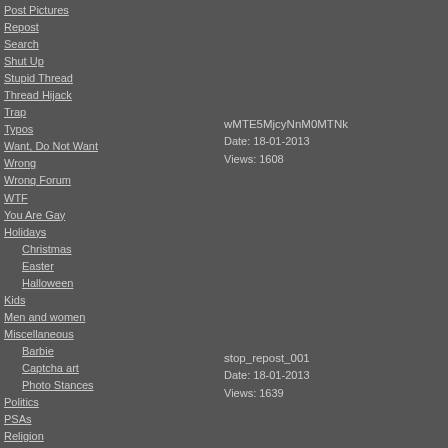Post Pictures
Repost
Search
Shut Up
Stupid Thread
Thread Hijack
Trap
Typos
Want, Do Not Want
Wrong
Wrong Forum
WTF
You Are Gay
Holidays
Christmas
Easter
Halloween
Kids
Men and women
Miscellaneous
Barbie
Captcha art
Photo Stances
Politics
PSAs
Religion
Signs Adverts Newspapers
Sport
TV
Weird
Work
Size: 25 items
wMTE5MjcyNnM0MTNk
Date: 18-01-2013
Views: 1608
stop_repost_001
Date: 18-01-2013
Views: 1639